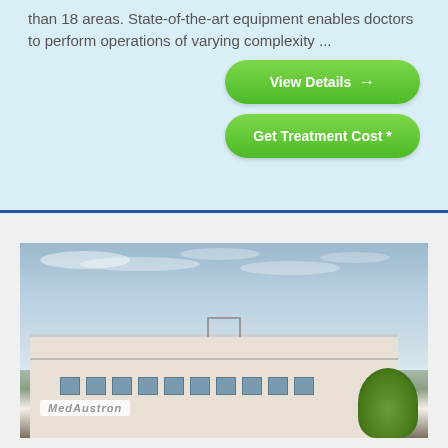than 18 areas. State-of-the-art equipment enables doctors to perform operations of varying complexity ...
View Details →
Get Treatment Cost *
[Figure (photo): Exterior photo of MedAustron medical facility building with signage, windows, and trees against a partly cloudy sky]